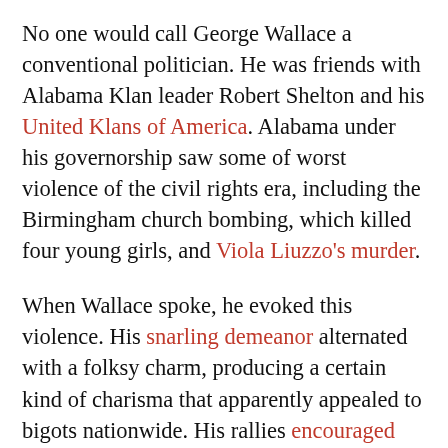No one would call George Wallace a conventional politician. He was friends with Alabama Klan leader Robert Shelton and his United Klans of America. Alabama under his governorship saw some of worst violence of the civil rights era, including the Birmingham church bombing, which killed four young girls, and Viola Liuzzo's murder.
When Wallace spoke, he evoked this violence. His snarling demeanor alternated with a folksy charm, producing a certain kind of charisma that apparently appealed to bigots nationwide. His rallies encouraged violence against critics and sometimes ended in a brawl.
The bloody spring and summer of 1968 opened the door for Wallace's second campaign: President Lyndon Johnson withdrew from the race, and both Wallace's long-time nemesis Martin Luther King and the hated former Attorney General Bobby Kennedy were assassinated. He decided to run this time on the